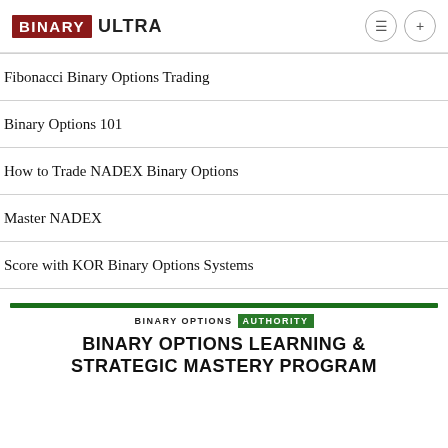BINARY ULTRA
Fibonacci Binary Options Trading
Binary Options 101
How to Trade NADEX Binary Options
Master NADEX
Score with KOR Binary Options Systems
[Figure (logo): Binary Options Authority logo with green bar and badge]
BINARY OPTIONS LEARNING & STRATEGIC MASTERY PROGRAM